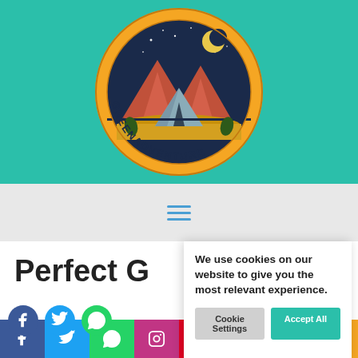[Figure (logo): GreenAdventure circular logo with camping tent, mountains, moon, stars on dark blue background inside orange circle, text GREENADVENTURE around bottom arc]
[Figure (infographic): Hamburger menu icon (three horizontal teal lines) on light grey navigation bar]
Perfect G
We use cookies on our website to give you the most relevant experience.
Cookie Settings | Accept All
[Figure (infographic): Social media share bar at bottom: Facebook (blue), Twitter (light blue), WhatsApp (green), Instagram (purple), Pinterest (red), YouTube (red), Reddit (orange-red), Share (orange)]